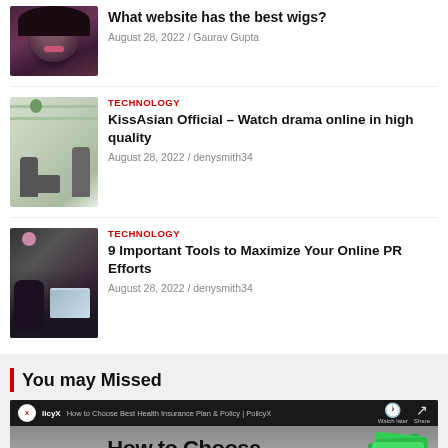[Figure (photo): Thumbnail of woman with natural hair]
What website has the best wigs?
August 28, 2022 / Gaurav Gupta
TECHNOLOGY
[Figure (photo): Thumbnail of people in a plant-filled office]
KissAsian Official – Watch drama online in high quality
August 28, 2022 / denysmith34
TECHNOLOGY
[Figure (photo): Thumbnail of person using laptop with coffee]
9 Important Tools to Maximize Your Online PR Efforts
August 28, 2022 / denysmith34
You may Missed
[Figure (screenshot): YouTube video thumbnail: How to Choose Best Health Insurance Plan & Policy | PolicyX]